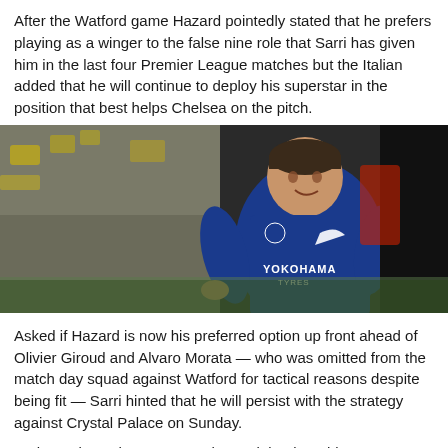After the Watford game Hazard pointedly stated that he prefers playing as a winger to the false nine role that Sarri has given him in the last four Premier League matches but the Italian added that he will continue to deploy his superstar in the position that best helps Chelsea on the pitch.
[Figure (photo): Eden Hazard running in Chelsea blue kit with YOKOHAMA TYRES sponsor, blurred background with yellow and dark elements]
Asked if Hazard is now his preferred option up front ahead of Olivier Giroud and Alvaro Morata — who was omitted from the match day squad against Watford for tactical reasons despite being fit — Sarri hinted that he will persist with the strategy against Crystal Palace on Sunday.
"It depends on the opponent" he explained "In this moment...